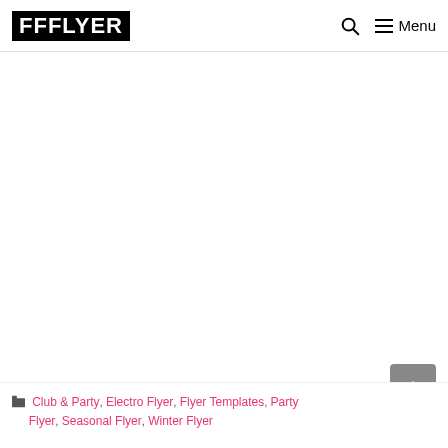FFFLYER | Menu
Club & Party, Electro Flyer, Flyer Templates, Party Flyer, Seasonal Flyer, Winter Flyer